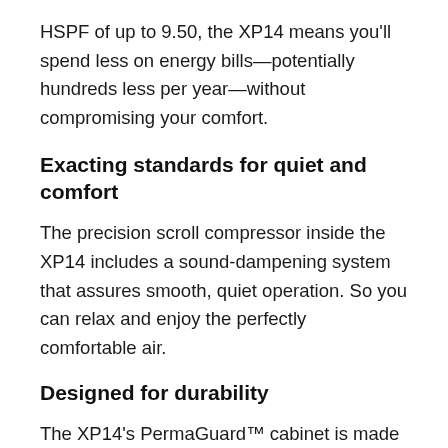HSPF of up to 9.50, the XP14 means you'll spend less on energy bills—potentially hundreds less per year—without compromising your comfort.
Exacting standards for quiet and comfort
The precision scroll compressor inside the XP14 includes a sound-dampening system that assures smooth, quiet operation. So you can relax and enjoy the perfectly comfortable air.
Designed for durability
The XP14's PermaGuard™ cabinet is made of